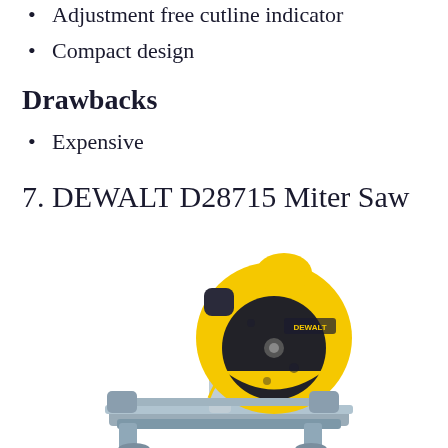Adjustment free cutline indicator
Compact design
Drawbacks
Expensive
7. DEWALT D28715 Miter Saw
[Figure (photo): DEWALT D28715 Miter Saw — a yellow and black metal-cutting chop saw with a large circular blade guard, yellow housing, and grey metal base/frame]